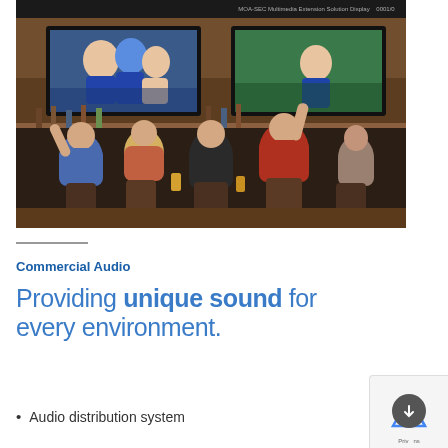[Figure (photo): People in a sports bar with arms raised celebrating, watching football on multiple large wall-mounted TV screens]
Commercial Audio
Providing unique sound for every environment.
Audio distribution system